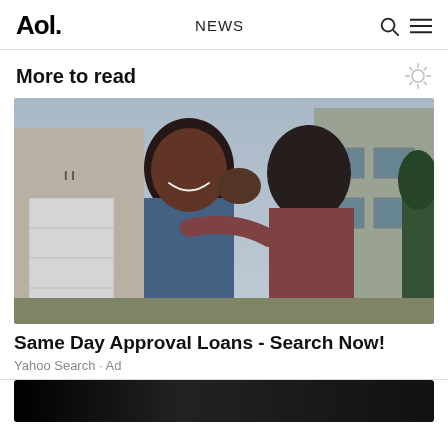Aol. NEWS
More to read
[Figure (photo): A couple standing outside a house; a man kissing a smiling woman on the cheek while hugging her.]
Same Day Approval Loans - Search Now!
Yahoo Search · Ad